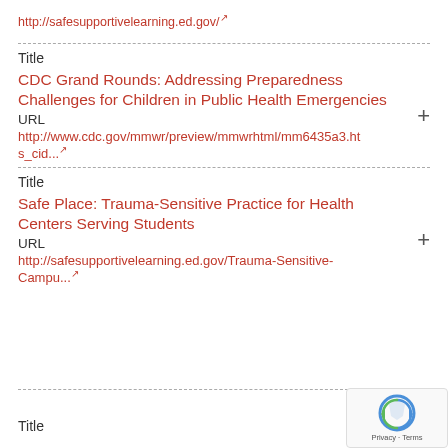http://safesupportivelearning.ed.gov/
Title
CDC Grand Rounds: Addressing Preparedness Challenges for Children in Public Health Emergencies
URL
http://www.cdc.gov/mmwr/preview/mmwrhtml/mm6435a3.ht... s_cid...
Title
Safe Place: Trauma-Sensitive Practice for Health Centers Serving Students
URL
http://safesupportivelearning.ed.gov/Trauma-Sensitive-Campu...
Title